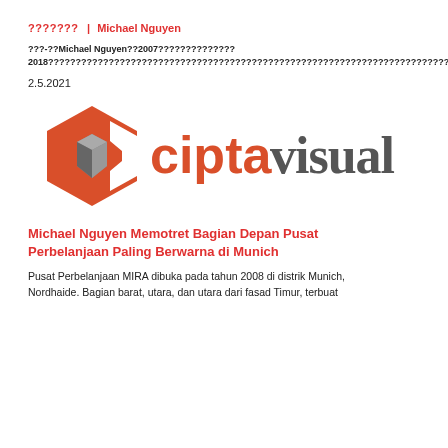??????? | Michael Nguyen
???-??Michael Nguyen??2007??????????????2018????????????????????????????????????????????????????????????????????????????????????????????????
2.5.2021
[Figure (logo): Cipta Visual logo — orange hexagonal C icon with grey cube inside, followed by 'cipta' in orange and 'visual' in dark grey distressed lettering]
Michael Nguyen Memotret Bagian Depan Pusat Perbelanjaan Paling Berwarna di Munich
Pusat Perbelanjaan MIRA dibuka pada tahun 2008 di distrik Munich, Nordhaide. Bagian barat, utara, dan utara dari fasad Timur, terbuat